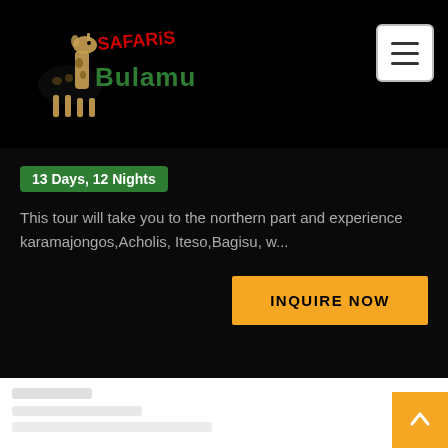[Figure (logo): Bulamu Safaris logo with giraffe graphic, white and green text on black background]
13 Days, 12 Nights
This tour will take you to the northern part and experience karamajongos,Acholis, Iteso,Bagisu, w...
INQUIRE NOW